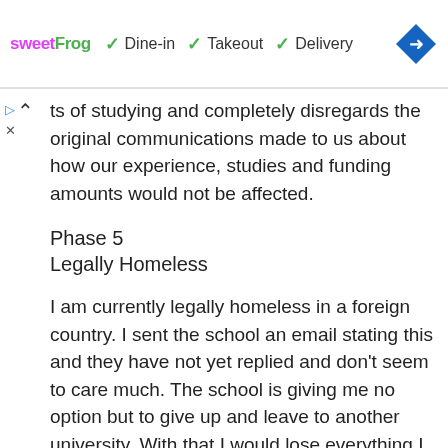[Figure (screenshot): SweetFrog ad banner showing Dine-in, Takeout, Delivery options with checkmarks and a blue navigation diamond icon]
ts of studying and completely disregards the original communications made to us about how our experience, studies and funding amounts would not be affected.
Phase 5
Legally Homeless
I am currently legally homeless in a foreign country. I sent the school an email stating this and they have not yet replied and don't seem to care much. The school is giving me no option but to give up and leave to another university. With that I would lose everything I have put into my education. I would lose the time I have put in, I would lose the money I have put in, foremost and finally I would lose access to my dual degree.